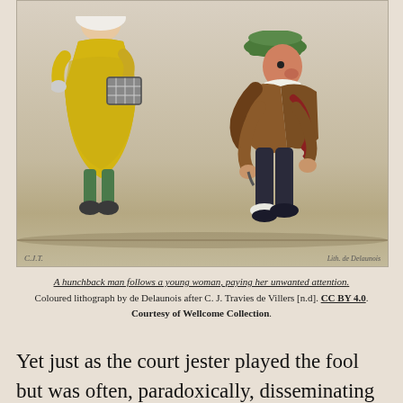[Figure (illustration): A coloured lithograph showing a hunchback man following a young woman, paying her unwanted attention. The woman wears a yellow dress with a checkered bag, and the man wears a brown coat and green hat, leaning forward with a cane-like posture. Signed 'CJT' lower left and 'Lith de Delaunois' lower right.]
A hunchback man follows a young woman, paying her unwanted attention. Coloured lithograph by de Delaunois after C. J. Travies de Villers [n.d]. CC BY 4.0. Courtesy of Wellcome Collection.
Yet just as the court jester played the fool but was often, paradoxically, disseminating some of the